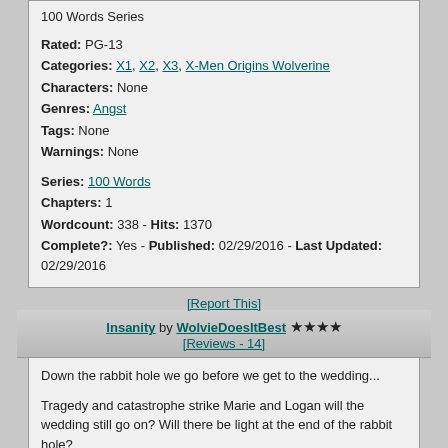100 Words Series
Rated: PG-13
Categories: X1, X2, X3, X-Men Origins Wolverine
Characters: None
Genres: Angst
Tags: None
Warnings: None
Series: 100 Words
Chapters: 1
Wordcount: 338 - Hits: 1370
Complete?: Yes - Published: 02/29/2016 - Last Updated: 02/29/2016
[Report This]
Insanity by WolvieDoesItBest ★★★★ [Reviews - 14]
Down the rabbit hole we go before we get to the wedding...

Tragedy and catastrophe strike Marie and Logan will the wedding still go on? Will there be light at the end of the rabbit hole?

This is the sequel to Pandemonium.
Rated: Mature
Categories: X-Men Origins Wolverine, X1, X2, X3, AU
Characters: None
Genres: Action, Adult, Angst, Drama, Shipper
Tags: None
Warnings: None